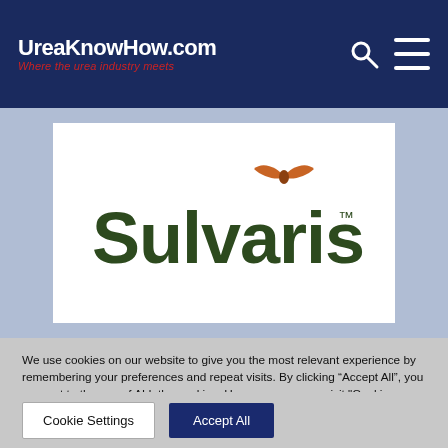UreaKnowHow.com — Where the urea industry meets
[Figure (logo): Sulvaris company logo on white background with light blue border area. Dark olive green bold text 'Sulvaris' with TM mark and an orange/brown bowtie icon above.]
We use cookies on our website to give you the most relevant experience by remembering your preferences and repeat visits. By clicking “Accept All”, you consent to the use of ALL the cookies. However, you may visit "Cookie Settings" to provide a controlled consent.
Cookie Settings   Accept All